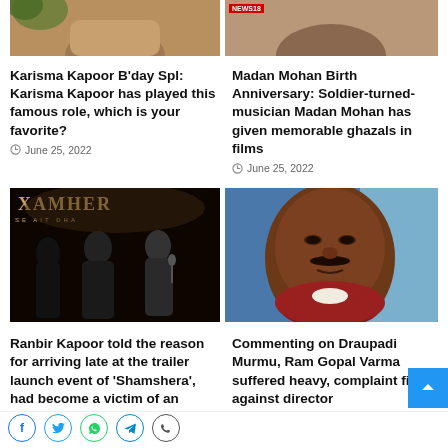[Figure (photo): Karisma Kapoor photo (top cropped)]
[Figure (photo): Madan Mohan photo with News18 badge (top cropped)]
Karisma Kapoor B'day Spl: Karisma Kapoor has played this famous role, which is your favorite?
June 25, 2022
Madan Mohan Birth Anniversary: Soldier-turned-musician Madan Mohan has given memorable ghazals in films
June 25, 2022
[Figure (photo): Ranbir Kapoor at Shamshera trailer launch event with cast members on dark stage]
[Figure (photo): Ram Gopal Varma closeup portrait photo]
Ranbir Kapoor told the reason for arriving late at the trailer launch event of 'Shamshera', had become a victim of an accident!
June 24, 2022
Commenting on Draupadi Murmu, Ram Gopal Varma suffered heavy, complaint filed against director
June 24, 2022
Social share icons: Facebook, Twitter, WhatsApp, Telegram, Phone